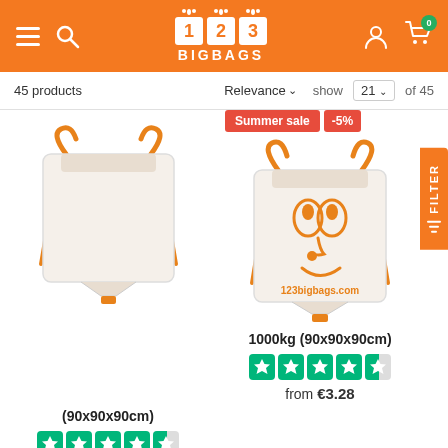123 BIGBAGS - navigation header with hamburger menu, search, logo, account and cart icons
45 products   Relevance ▾   show   21 ▾   of 45
[Figure (photo): White big bag / FIBC (90x90x90cm) with orange lifting straps, plain white body]
(90x90x90cm)
[Figure (illustration): Trustpilot-style green star rating showing approximately 4.5 out of 5 stars]
from €3.34
[Figure (photo): White big bag / FIBC 1000kg (90x90x90cm) with orange straps and orange mascot face printed on front, with text 123bigbags.com. Summer sale badge and -5% badge shown.]
1000kg (90x90x90cm)
[Figure (illustration): Trustpilot-style green star rating showing approximately 4.5 out of 5 stars]
from €3.28